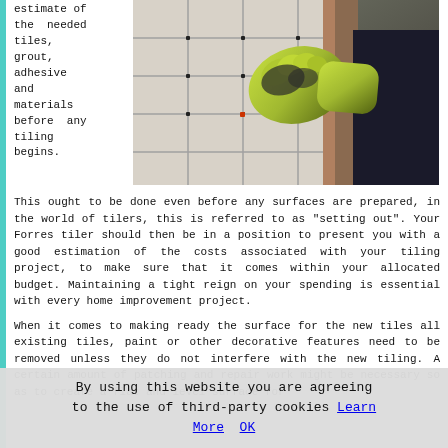estimate of the needed tiles, grout, adhesive and materials before any tiling begins.
[Figure (photo): A person wearing yellow and black gloves installing white wall tiles, using tile spacers to ensure even spacing.]
This ought to be done even before any surfaces are prepared, in the world of tilers, this is referred to as "setting out". Your Forres tiler should then be in a position to present you with a good estimation of the costs associated with your tiling project, to make sure that it comes within your allocated budget. Maintaining a tight reign on your spending is essential with every home improvement project.

When it comes to making ready the surface for the new tiles all existing tiles, paint or other decorative features need to be removed unless they do not interfere with the new tiling. A certain amount of patching and repair work might be necessary so as to create a flat and level surface for
By using this website you are agreeing to the use of third-party cookies Learn More  OK